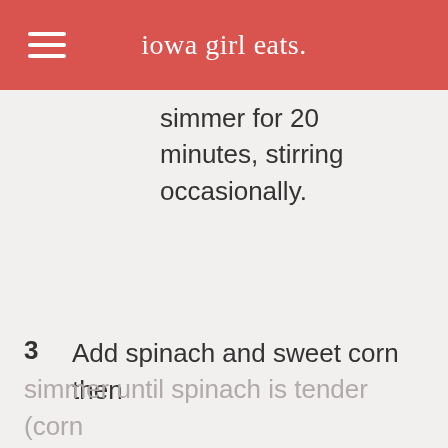iowa girl eats.
simmer for 20 minutes, stirring occasionally.
3  Add spinach and sweet corn then
simmer until spinach is tender (corn